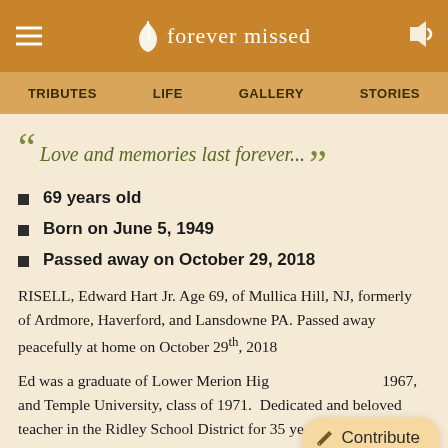forever missed
TRIBUTES   LIFE   GALLERY   STORIES
“ Love and memories last forever... ”
69 years old
Born on June 5, 1949
Passed away on October 29, 2018
RISELL, Edward Hart Jr. Age 69, of Mullica Hill, NJ, formerly of Ardmore, Haverford, and Lansdowne PA. Passed away peacefully at home on October 29th, 2018
Ed was a graduate of Lower Merion High School, class of 1967, and Temple University, class of 1971. Dedicated and beloved teacher in the Ridley School District for 35 years